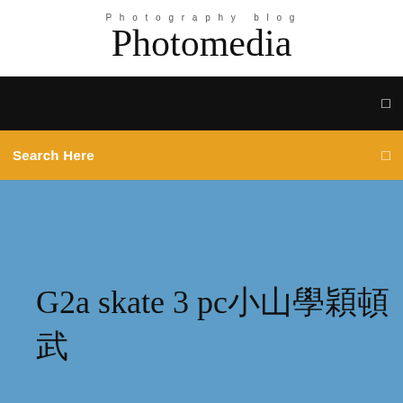Photography blog
Photomedia
[Figure (screenshot): Black navigation bar with menu icon]
Search Here
[Figure (screenshot): Blue hero area with page title text: G2a skate 3 pc followed by Japanese/CJK characters]